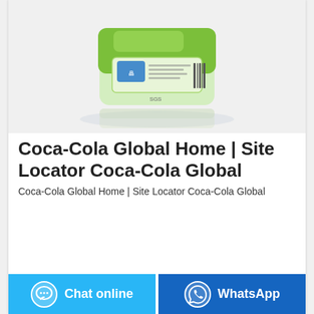[Figure (photo): A green-packaged product (appears to be a wet wipes or food packet with green and white packaging) photographed on a white background with a subtle reflection beneath it.]
Coca-Cola Global Home | Site Locator Coca-Cola Global
Coca-Cola Global Home | Site Locator Coca-Cola Global